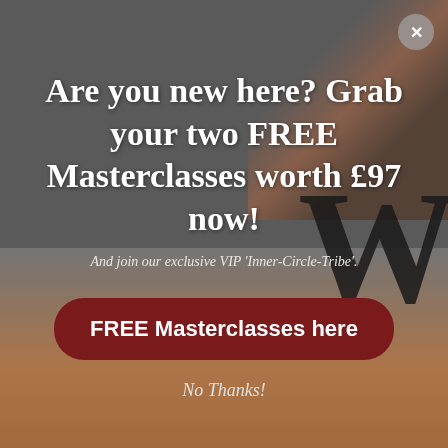[Figure (photo): Background image showing a sunset sky with orange and grey tones, silhouette of a tree/branches in the upper right, and a large letter W partially visible in the lower right. The overall overlay has a dark grey semi-transparent tone.]
Are you new here? Grab your two FREE Masterclasses worth £97 now!
And join our exclusive VIP 'Inner-Circle-Tribe'.
FREE Masterclasses here
No Thanks!